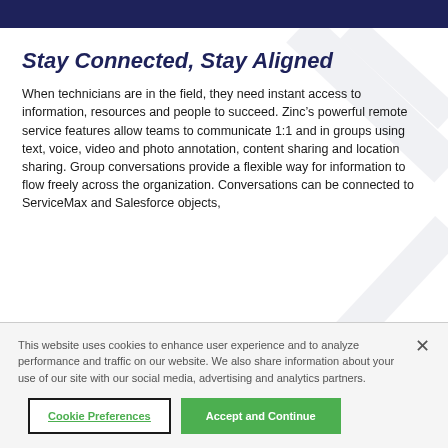Stay Connected, Stay Aligned
When technicians are in the field, they need instant access to information, resources and people to succeed. Zinc’s powerful remote service features allow teams to communicate 1:1 and in groups using text, voice, video and photo annotation, content sharing and location sharing. Group conversations provide a flexible way for information to flow freely across the organization. Conversations can be connected to ServiceMax and Salesforce objects,
This website uses cookies to enhance user experience and to analyze performance and traffic on our website. We also share information about your use of our site with our social media, advertising and analytics partners.
Cookie Preferences
Accept and Continue